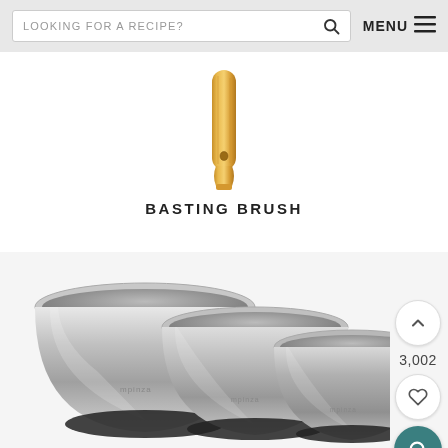LOOKING FOR A RECIPE?  MENU
[Figure (photo): A wooden basting brush handle with a small hole near the bottom, shown vertically against white background]
BASTING BRUSH
[Figure (photo): Three stainless steel mixing bowls with black non-slip bases, labeled 'mpinza', arranged in descending size from left to right]
3,002